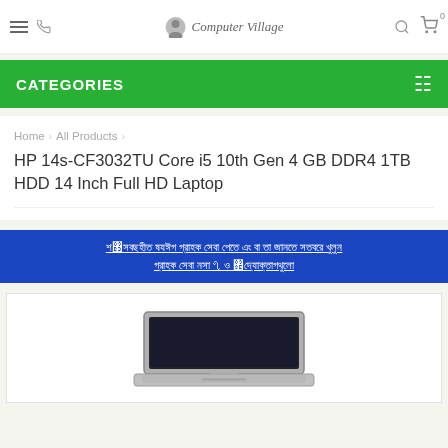Computer Village
CATEGORIES
Home > All Products > HP 14s-CF3032TU Core i5 10th Gen 4 GB DDR4 1TB HDD 14 Inch Full HD Laptop
HP 14s-CF3032TU Core i5 10th Gen 4 GB DDR4 1TB HDD 14 Inch Full HD Laptop
[Bengali text - promotional banner with link]
[Figure (photo): HP 14s-CF3032TU laptop product image shown from above at an angle, silver/grey color]